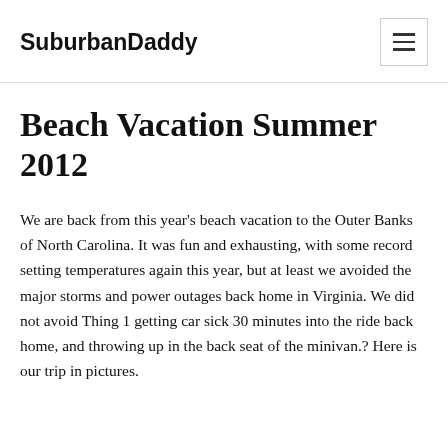SuburbanDaddy
Beach Vacation Summer 2012
We are back from this year's beach vacation to the Outer Banks of North Carolina. It was fun and exhausting, with some record setting temperatures again this year, but at least we avoided the major storms and power outages back home in Virginia. We did not avoid Thing 1 getting car sick 30 minutes into the ride back home, and throwing up in the back seat of the minivan.? Here is our trip in pictures.